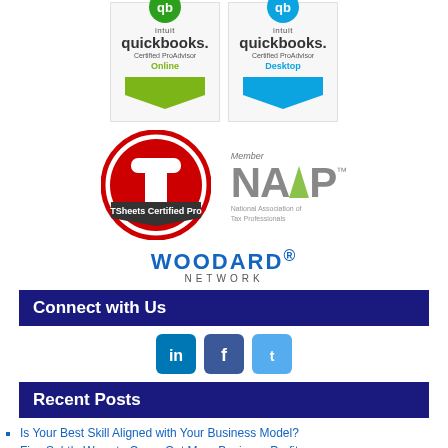[Figure (logo): QuickBooks Certified ProAdvisor Online badge with green chevron]
[Figure (logo): QuickBooks Certified ProAdvisor Desktop badge with blue chevron]
[Figure (logo): TSheets Certified Pro circular red logo]
[Figure (logo): NATP Member - National Association of Tax Professionals logo]
[Figure (logo): Woodard Network logo]
Connect with Us
[Figure (infographic): LinkedIn, Facebook, and Twitter social media icons]
Recent Posts
Is Your Best Skill Aligned with Your Business Model?
Five Subtle Ways to Carve Out More Business Profit